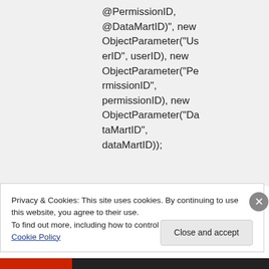@PermissionID, @DataMartID)", new ObjectParameter("UserID", userID), new ObjectParameter("PermissionID", permissionID), new ObjectParameter("DataMartID", dataMartID));
Privacy & Cookies: This site uses cookies. By continuing to use this website, you agree to their use.
To find out more, including how to control cookies, see here: Cookie Policy